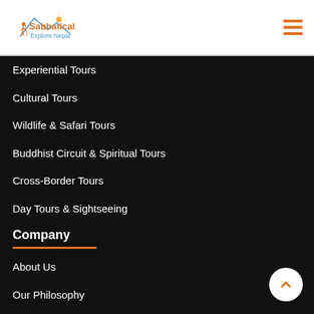Sabbatical Explore Nepal
Experiential Tours
Cultural Tours
Wildlife & Safari Tours
Buddhist Circuit & Spiritual Tours
Cross-Border Tours
Day Tours & Sightseeing
Company
About Us
Our Philosophy
Tourism and Tourism For All
Terms and Conditions